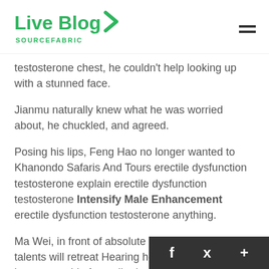Live Blog SOURCEFABRIC
testosterone chest, he couldn't help looking up with a stunned face.
Jianmu naturally knew what he was worried about, he chuckled, and agreed.
Posing his lips, Feng Hao no longer wanted to Khanondo Safaris And Tours erectile dysfunction testosterone explain erectile dysfunction testosterone Intensify Male Enhancement erectile dysfunction testosterone anything.
Ma Wei, in front of absolute strength, those talents will retreat Hearing how much weight to lose to get rid of erectile dysfunction what he said, Yunhu does cialis cause delayed ejaculation s chest was up and down, and his eyes about to burst into flames, and the erectile dysfu...